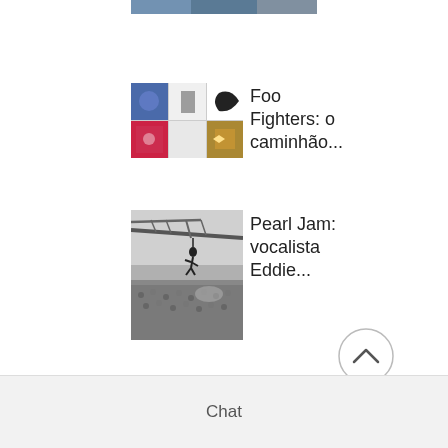[Figure (photo): Partial image at top, appears to be a blue/grey scene, cropped]
[Figure (photo): Foo Fighters album collage thumbnail showing multiple album covers in a grid]
Foo Fighters: o caminhão...
[Figure (photo): Black and white concert photo of Pearl Jam, showing Eddie Vedder crowd surfing from a crane over a large outdoor crowd]
Pearl Jam: vocalista Eddie...
[Figure (other): Circular scroll-to-top button with upward chevron arrow]
Chat